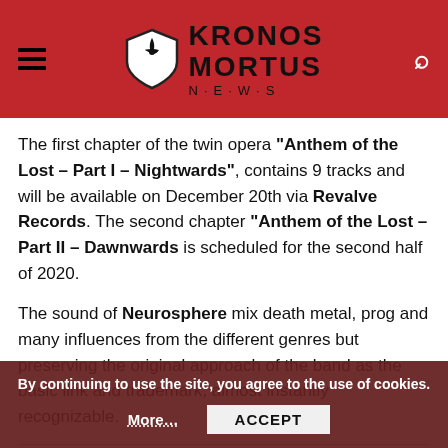Kronos Mortus News
The first chapter of the twin opera "Anthem of the Lost – Part I – Nightwards", contains 9 tracks and will be available on December 20th via Revalve Records. The second chapter "Anthem of the Lost – Part II – Dawnwards is scheduled for the second half of 2020.
The sound of Neurosphere mix death metal, prog and many influences from the different genres but preserving the original approach of the band as the basic link and trademark, almost instantly recognizable.
Neurosphere forms in 2003. The style of the band recalls the influences of Fear Factory, Dark Tranquillity, among mothers Amorphis, Metallica and Opeth, and can be summarized as a mix of thrash and more dark riffs, with dreamy and
By continuing to use the site, you agree to the use of cookies. More... ACCEPT